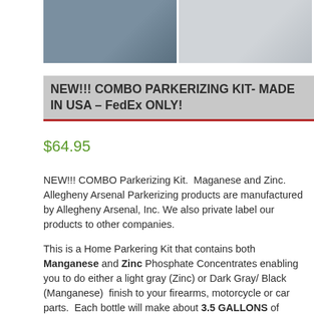[Figure (photo): Two product photos side by side showing bottles of parkerizing solution on a red surface and white surface]
NEW!!! COMBO PARKERIZING KIT- MADE IN USA – FedEx ONLY!
$64.95
NEW!!! COMBO Parkerizing Kit.  Maganese and Zinc. Allegheny Arsenal Parkerizing products are manufactured by Allegheny Arsenal, Inc. We also private label our products to other companies. This is a Home Parkering Kit that contains both Manganese and Zinc Phosphate Concentrates enabling you to do either a light gray (Zinc) or Dark Gray/ Black (Manganese)  finish to your firearms, motorcycle or car parts.  Each bottle will make about 3.5 GALLONS of solution and parkerize three to five long guns. The Parkerizing is a Military Specification (Mil. Spec.) finish that is more durable, withstands abrasion and humidity